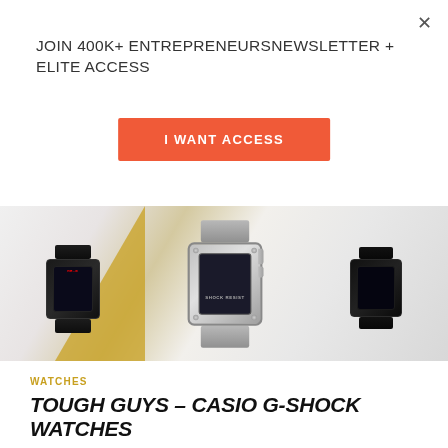JOIN 400K+ ENTREPRENEURSNEWSLETTER + ELITE ACCESS
I WANT ACCESS
[Figure (photo): Three Casio G-Shock watches laid on a marble and gold background surface, viewed from above showing watch faces and straps]
WATCHES
TOUGH GUYS – CASIO G-SHOCK WATCHES
With new launches in its luxury collection, The Casio G-Shock proves that it's not just for kids.
SHARE → f ⓟ